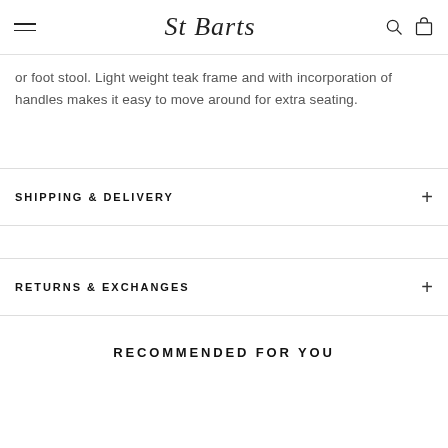St Barts — navigation header with hamburger menu, logo, search and cart icons
or foot stool. Light weight teak frame and with incorporation of handles makes it easy to move around for extra seating.
SHIPPING & DELIVERY
RETURNS & EXCHANGES
RECOMMENDED FOR YOU